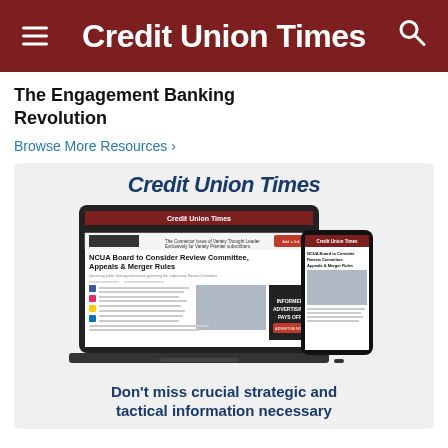Credit Union Times
The Engagement Banking Revolution
Browse More Resources ›
[Figure (screenshot): Screenshot of Credit Union Times website displayed on a laptop and smartphone. The laptop shows an article titled 'NCUA Board to Consider Review Committee, Appeals & Merger Rules' with an ad 'INFORMED ADVERTISING PAYS OFF'. The smartphone mirrors the same headline.]
Don't miss crucial strategic and tactical information necessary